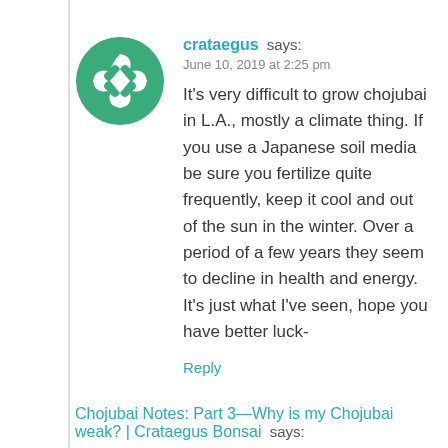[Figure (logo): Green circular logo with a geometric star/snowflake pattern made of curved arrow-like shapes]
crataegus says:
June 10, 2019 at 2:25 pm
It's very difficult to grow chojubai in L.A., mostly a climate thing. If you use a Japanese soil media be sure you fertilize quite frequently, keep it cool and out of the sun in the winter. Over a period of a few years they seem to decline in health and energy. It's just what I've seen, hope you have better luck-
Reply
Chojubai Notes: Part 3—Why is my Chojubai weak? | Crataegus Bonsai says: